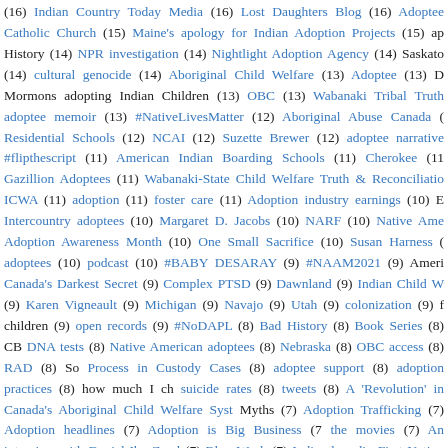(16) Indian Country Today Media (16) Lost Daughters Blog (16) Adoptee Catholic Church (15) Maine's apology for Indian Adoption Projects (15) ap History (14) NPR investigation (14) Nightlight Adoption Agency (14) Saskato (14) cultural genocide (14) Aboriginal Child Welfare (13) Adoptee (13) D Mormons adopting Indian Children (13) OBC (13) Wabanaki Tribal Truth adoptee memoir (13) #NativeLivesMatter (12) Aboriginal Abuse Canada ( Residential Schools (12) NCAI (12) Suzette Brewer (12) adoptee narrative #flipthescript (11) American Indian Boarding Schools (11) Cherokee (11 Gazillion Adoptees (11) Wabanaki-State Child Welfare Truth & Reconciliatio ICWA (11) adoption (11) foster care (11) Adoption industry earnings (10) E Intercountry adoptees (10) Margaret D. Jacobs (10) NARF (10) Native Ame Adoption Awareness Month (10) One Small Sacrifice (10) Susan Harness ( adoptees (10) podcast (10) #BABY DESARAY (9) #NAAM2021 (9) Ameri Canada's Darkest Secret (9) Complex PTSD (9) Dawnland (9) Indian Child V (9) Karen Vigneault (9) Michigan (9) Navajo (9) Utah (9) colonization (9) f children (9) open records (9) #NoDAPL (8) Bad History (8) Book Series (8) CB DNA tests (8) Native American adoptees (8) Nebraska (8) OBC access (8) RAD (8) So Process in Custody Cases (8) adoptee support (8) adoption practices (8) how much I ch suicide rates (8) tweets (8) A 'Revolution' in Canada's Aboriginal Child Welfare Syst Myths (7) Adoption Trafficking (7) Adoption headlines (7) Adoption is Big Business (7 the movies (7) An interview with Daniel Ibn Zayd (7) Blog Week (7) Indian boardin First Nation kids (7) Oklahoma (7) Truth and Reconciliation Commission (7) Wis boarding school survivor (7) ceremony for adoptees (7) how to search (7) intergener. racial identification (7) unregulated adoption industry (7) #OBC (6) #OrangeShirtDay All who died at residential schools should be named (6) American Holocaust of Indige Home: The RoadMap (6) Cherokee Nation (6) DOJ (6) Death by Boarding School (6 Scientific Evidence and Intergenerational Trauma (6) Foster Care Statistics (6)